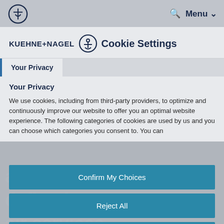KUEHNE+NAGEL  Q  Menu
KUEHNE+NAGEL Cookie Settings
Your Privacy
Your Privacy
We use cookies, including from third-party providers, to optimize and continuously improve our website to offer you an optimal website experience. The following categories of cookies are used by us and you can choose which categories you consent to. You can
and transparent, time-defined air services
Confirm My Choices
Reject All
Accept All